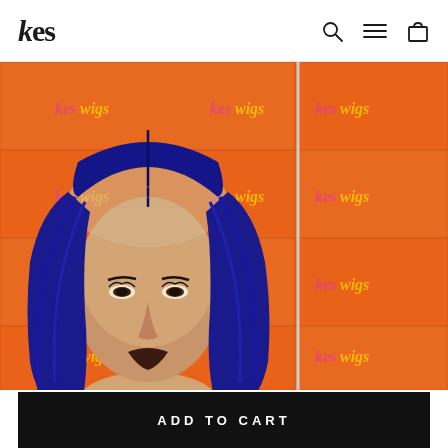kes
[Figure (photo): Product photo of a mannequin head wearing a navy blue straight lace-front wig, displayed against an orange background with repeated 'kes wigs' branding text in pink/yellow. The image is cropped to show from the top of the head to the chin area. A second partial image is visible on the right edge.]
ADD TO CART